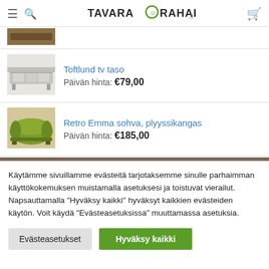TAVARA RAHAKSI.fi — navigation header with hamburger, search, logo, cart
[Figure (photo): Partial product thumbnail (brown/wood colored item, partially visible at top)]
Toftlund tv taso
Päivän hinta: €79,00
[Figure (photo): White TV stand/console product thumbnail]
Retro Emma sohva, plyyssikangas
Päivän hinta: €185,00
[Figure (photo): Green velvet retro sofa product thumbnail]
Käytämme sivuillamme evästeitä tarjotaksemme sinulle parhaimman käyttökokemuksen muistamalla asetuksesi ja toistuvat vierailut. Napsauttamalla "Hyväksy kaikki" hyväksyt kaikkien evästeiden käytön. Voit käydä "Evästeasetuksissa" muuttamassa asetuksia.
Evästeasetukset
Hyväksy kaikki